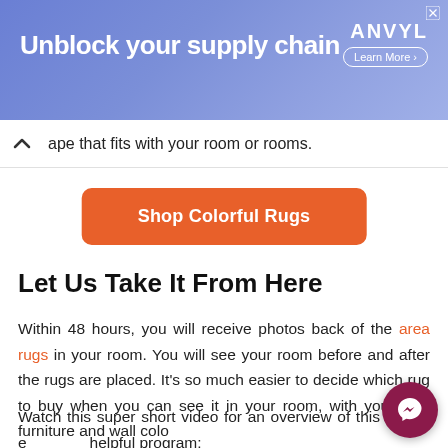[Figure (screenshot): Advertisement banner with purple/blue gradient background showing 'Unblock your supply chain' headline and ANVYL logo with 'Learn More' button]
ape that fits with your room or rooms.
Shop Colorful Rugs
Let Us Take It From Here
Within 48 hours, you will receive photos back of the area rugs in your room. You will see your room before and after the rugs are placed. It's so much easier to decide which rug to buy when you can see it in your room, with your own furniture and wall color
Watch this super short video for an overview of this e helpful program: